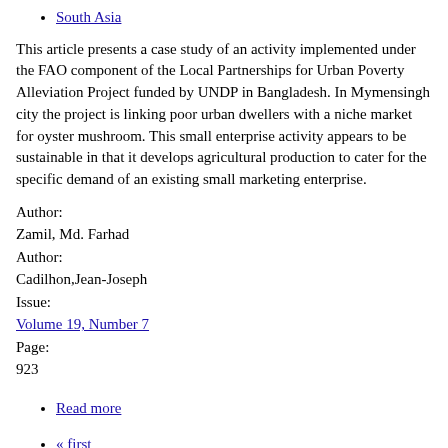South Asia
This article presents a case study of an activity implemented under the FAO component of the Local Partnerships for Urban Poverty Alleviation Project funded by UNDP in Bangladesh. In Mymensingh city the project is linking poor urban dwellers with a niche market for oyster mushroom. This small enterprise activity appears to be sustainable in that it develops agricultural production to cater for the specific demand of an existing small marketing enterprise.
Author:
Zamil, Md. Farhad
Author:
Cadilhon,Jean-Joseph
Issue:
Volume 19, Number 7
Page:
923
Read more
« first
‹ previous
1
2